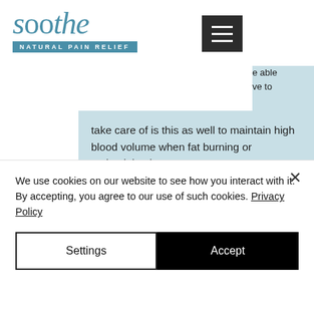[Figure (logo): Soothe Natural Pain Relief logo with teal/blue serif wordmark and tagline banner]
rature not e able ve to take care of is this as well to maintain high blood volume when fat burning or maintaining lean mass.

So how does fat burn? Well, if you are not a very fast runner and want to lose weight fast, you need to increase your metabolic rate since the higher the metabolic rate, the faster a body burns fat for fuel. If you are a
We use cookies on our website to see how you interact with it. By accepting, you agree to our use of such cookies. Privacy Policy